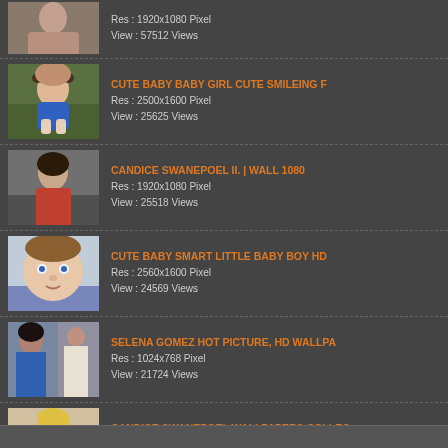Res : 1920x1080 Pixel
View : 57512 Views
CUTE BABY BABY GIRL CUTE SMILEING F
Res : 2500x1600 Pixel
View : 25625 Views
CANDICE SWANEPOEL II. | WALL 1080
Res : 1920x1080 Pixel
View : 25518 Views
CUTE BABY SMART LITTLE BABY BOY HD
Res : 2560x1600 Pixel
View : 24569 Views
SELENA GOMEZ HOT PICTURE, HD WALLPA
Res : 1024x768 Pixel
View : 21724 Views
CANDICE SWANEPOEL WALLPAPERS COLLEC
Res : 1280x1024 Pixel
View : 21223 Views